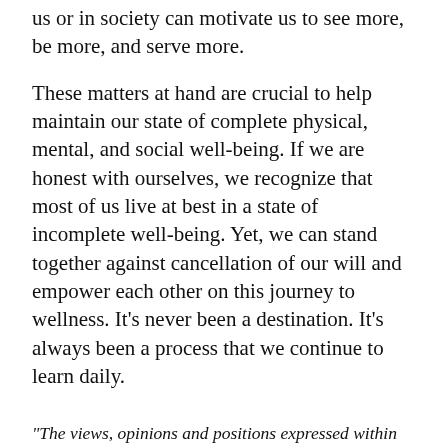us or in society can motivate us to see more, be more, and serve more.
These matters at hand are crucial to help maintain our state of complete physical, mental, and social well-being. If we are honest with ourselves, we recognize that most of us live at best in a state of incomplete well-being. Yet, we can stand together against cancellation of our will and empower each other on this journey to wellness. It’s never been a destination. It’s always been a process that we continue to learn daily.
“The views, opinions and positions expressed within this blog are those of the author(s) alone and do not represent those of the American Heart Association. The accuracy, completeness and validity of any statements made within this article are not guaranteed. We